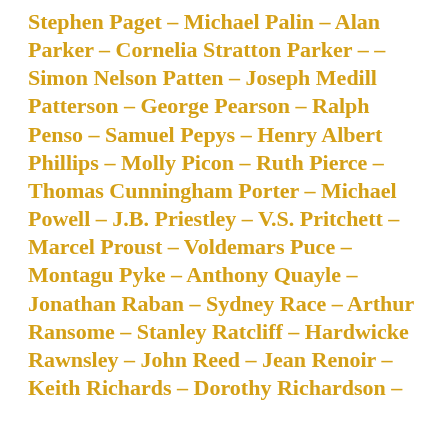Stephen Paget – Michael Palin – Alan Parker – Cornelia Stratton Parker – – Simon Nelson Patten – Joseph Medill Patterson – George Pearson – Ralph Penso – Samuel Pepys – Henry Albert Phillips – Molly Picon – Ruth Pierce – Thomas Cunningham Porter – Michael Powell – J.B. Priestley – V.S. Pritchett – Marcel Proust – Voldemars Puce – Montagu Pyke – Anthony Quayle – Jonathan Raban – Sydney Race – Arthur Ransome – Stanley Ratcliff – Hardwicke Rawnsley – John Reed – Jean Renoir – Keith Richards – Dorothy Richardson –